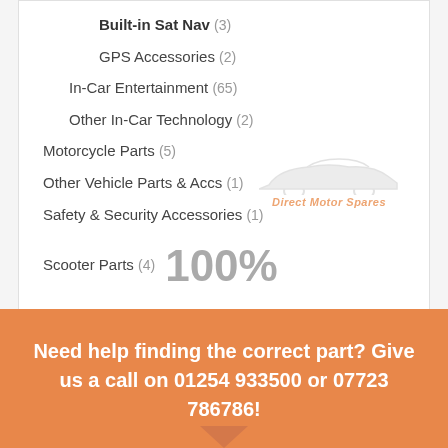Built-in Sat Nav (3)
GPS Accessories (2)
In-Car Entertainment (65)
Other In-Car Technology (2)
Motorcycle Parts (5)
Other Vehicle Parts & Accs (1)
Safety & Security Accessories (1)
Scooter Parts (4) 100%
Need help finding the correct part? Give us a call on 01254 933500 or 07723 786786!